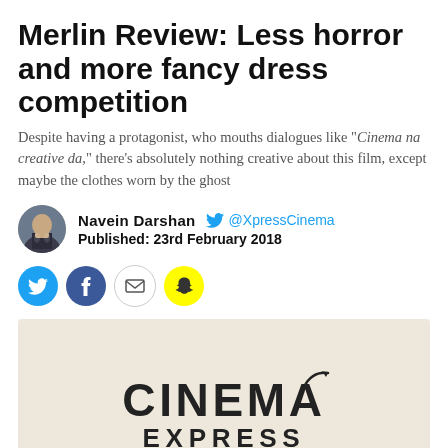Merlin Review: Less horror and more fancy dress competition
Despite having a protagonist, who mouths dialogues like "Cinema na creative da," there's absolutely nothing creative about this film, except maybe the clothes worn by the ghost
Navein Darshan   @XpressCinema
Published: 23rd February 2018
[Figure (logo): Cinema Express logo on beige/cream background]
[Figure (illustration): Social media share icons: Twitter (blue circle), Facebook (blue circle), Email (white circle with envelope), Snapchat (yellow circle)]